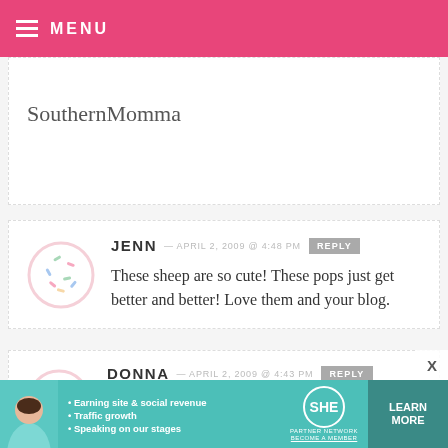≡ MENU
SouthernMomma
JENN — APRIL 2, 2009 @ 4:48 PM REPLY
These sheep are so cute! These pops just get better and better! Love them and your blog.
DONNA — APRIL 2, 2009 @ 4:43 PM REPLY
Those sheep are just to cute and I love
[Figure (infographic): SHE Partner Network advertisement banner with photo of woman, bullets: Earning site & social revenue, Traffic growth, Speaking on our stages, logo, and LEARN MORE button]